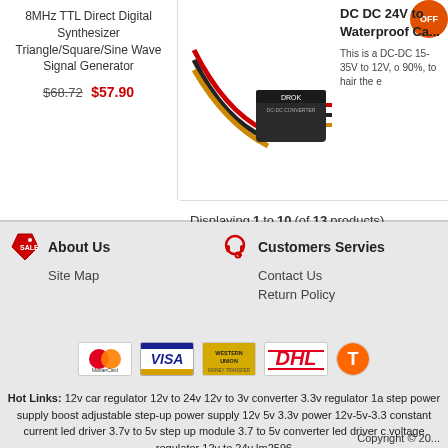8MHz TTL Direct Digital Synthesizer Triangle/Square/Sine Wave Signal Generator
$68.72 $57.90
[Figure (photo): DROK DC-DC converter module with red, black and yellow wires]
DC DC 24V to Waterproof Ca... This is a DC-DC 15-35V to 12V, o 90%, to hair the e
Displaying 1 to 10 (of 13 products)
About Us
Site Map
Customers Servies
Contact Us
Return Policy
[Figure (logo): Payment logos: MasterCard, VISA, Western Union, DHL, T (partially visible)]
Hot Links: 12v car regulator 12v to 24v 12v to 3v converter 3.3v regulator 1a step power supply boost adjustable step-up power supply 12v 5v 3.3v power 12v-5v-3.3 constant current led driver 3.7v to 5v step up module 3.7 to 5v converter led driver c voltage regulator 12v to 24v lm2596
Copyright © 20...